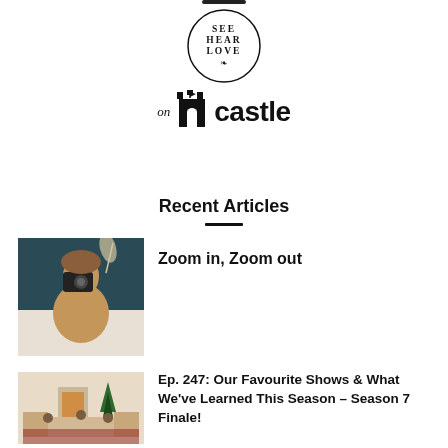[Figure (logo): See Hear Love circular logo with text SEE HEAR LOVE and a small leaf/branch decorative element inside a circle]
[Figure (logo): On Castle logo — the word 'on' in italic serif followed by a castle tower icon and the word 'castle' in bold sans-serif]
Recent Articles
[Figure (photo): A woman in a tan/camel turtleneck sweater holding a camera up to her face, against a dark teal/navy wall with white bedding visible]
Zoom in, Zoom out
[Figure (photo): A festively decorated living room with a fireplace, Christmas tree, and family members seated on sofas with a red patterned rug]
Ep. 247: Our Favourite Shows & What We've Learned This Season – Season 7 Finale!